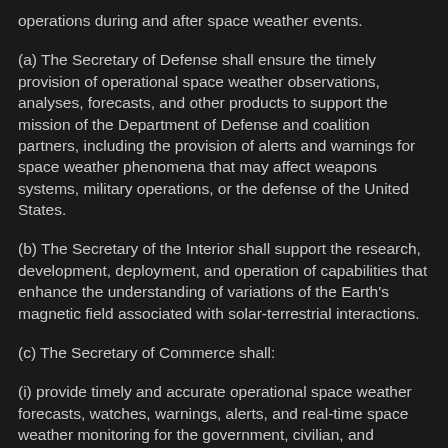operations during and after space weather events.
(a) The Secretary of Defense shall ensure the timely provision of operational space weather observations, analyses, forecasts, and other products to support the mission of the Department of Defense and coalition partners, including the provision of alerts and warnings for space weather phenomena that may affect weapons systems, military operations, or the defense of the United States.
(b) The Secretary of the Interior shall support the research, development, deployment, and operation of capabilities that enhance the understanding of variations of the Earth's magnetic field associated with solar-terrestrial interactions.
(c) The Secretary of Commerce shall:
(i) provide timely and accurate operational space weather forecasts, watches, warnings, alerts, and real-time space weather monitoring for the government, civilian, and commercial sectors, exclusive of the responsibilities of the Secretary of Defense; and